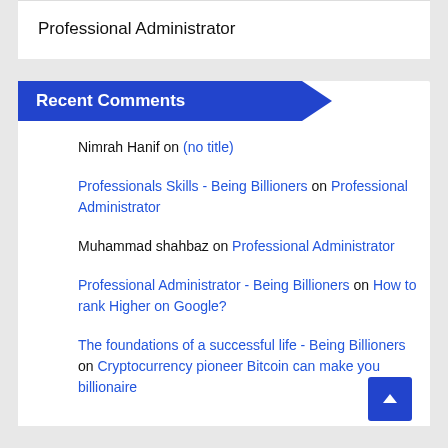Professional Administrator
Recent Comments
Nimrah Hanif on (no title)
Professionals Skills - Being Billioners on Professional Administrator
Muhammad shahbaz on Professional Administrator
Professional Administrator - Being Billioners on How to rank Higher on Google?
The foundations of a successful life - Being Billioners on Cryptocurrency pioneer Bitcoin can make you billionaire